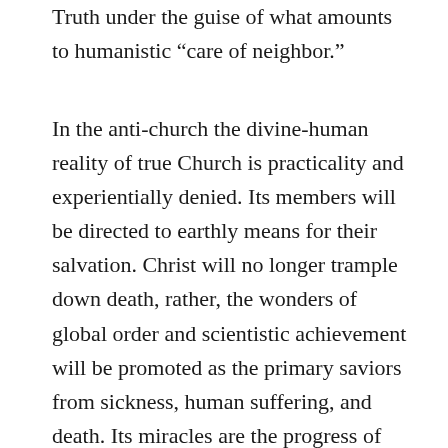Truth under the guise of what amounts to humanistic “care of neighbor.”
In the anti-church the divine-human reality of true Church is practicality and experientially denied. Its members will be directed to earthly means for their salvation. Christ will no longer trample down death, rather, the wonders of global order and scientistic achievement will be promoted as the primary saviors from sickness, human suffering, and death. Its miracles are the progress of humanistic ingenuity. Its priestly class is the “experts” who have gnostic knowledge regarding the “well-being” of humanity. It will place the occult of scientistic existence above the holy Traditions of Orthodoxy. Violence and persecution will be used to